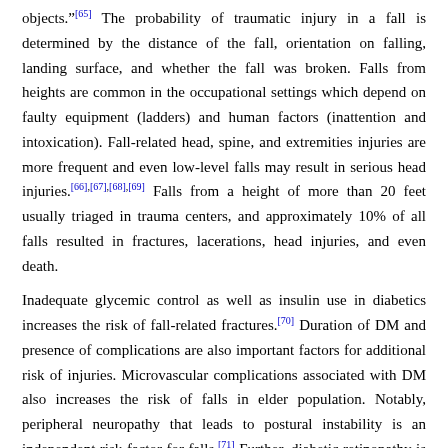objects."[65] The probability of traumatic injury in a fall is determined by the distance of the fall, orientation on falling, landing surface, and whether the fall was broken. Falls from heights are common in the occupational settings which depend on faulty equipment (ladders) and human factors (inattention and intoxication). Fall-related head, spine, and extremities injuries are more frequent and even low-level falls may result in serious head injuries.[66],[67],[68],[69] Falls from a height of more than 20 feet usually triaged in trauma centers, and approximately 10% of all falls resulted in fractures, lacerations, head injuries, and even death.
Inadequate glycemic control as well as insulin use in diabetics increases the risk of fall-related fractures.[70] Duration of DM and presence of complications are also important factors for additional risk of injuries. Microvascular complications associated with DM also increases the risk of falls in elder population. Notably, peripheral neuropathy that leads to postural instability is an independent risk factor for falls.[71] Further, diabetic retinopathy is the leading cause of impaired vision which increases the risk of falls. In addition, renal dysfunction was also identified as a risk factor of falls.[71]